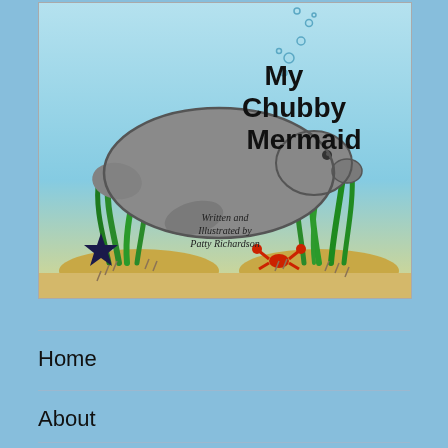[Figure (illustration): Book cover of 'My Chubby Mermaid' featuring a manatee underwater with seagrass, a starfish, a crab, and bubbles. Title in bold black text top right. Text 'Written and Illustrated by Patty Richardson' in center.]
Home
About